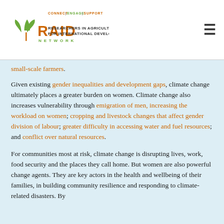[Figure (logo): RAID Network logo — Researchers in Agriculture for International Development, with tagline CONNECT ENGAGE SUPPORT]
small-scale farmers.
Given existing gender inequalities and development gaps, climate change ultimately places a greater burden on women. Climate change also increases vulnerability through emigration of men, increasing the workload on women; cropping and livestock changes that affect gender division of labour; greater difficulty in accessing water and fuel resources; and conflict over natural resources.
For communities most at risk, climate change is disrupting lives, work, food security and the places they call home. But women are also powerful change agents. They are key actors in the health and wellbeing of their families, in building community resilience and responding to climate-related disasters. By